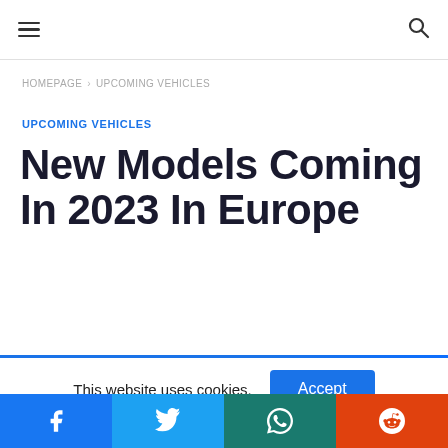☰  🔍
HOMEPAGE › UPCOMING VEHICLES
UPCOMING VEHICLES
New Models Coming In 2023 In Europe
This website uses cookies. Accept
Facebook | Twitter | WhatsApp | Reddit